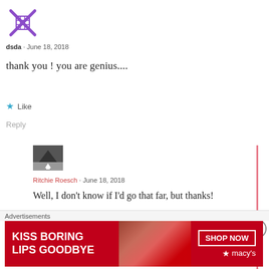[Figure (illustration): Purple pixel/grid icon with X shape, user avatar for dsda]
dsda · June 18, 2018
thank you ! you are genius....
★ Like
Reply
[Figure (photo): Black and white photo avatar, person with upward arrow, Ritchie Roesch profile image]
Ritchie Roesch · June 18, 2018
Well, I don't know if I'd go that far, but thanks!
Advertisements
[Figure (other): Macy's advertisement banner: KISS BORING LIPS GOODBYE, SHOP NOW, macys star logo, red background with lips image]